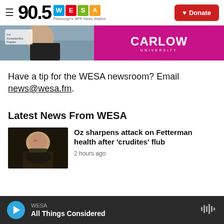90.5 WESA Pittsburgh's NPR News Station | Donate
[Figure (photo): Advertisement banner with photo on left and Carlow University magenta logo on right]
Have a tip for the WESA newsroom? Email news@wesa.fm.
Latest News From WESA
[Figure (photo): Headshot of man speaking, dark blurred background]
Oz sharpens attack on Fetterman health after 'crudites' flub
2 hours ago
WESA | All Things Considered